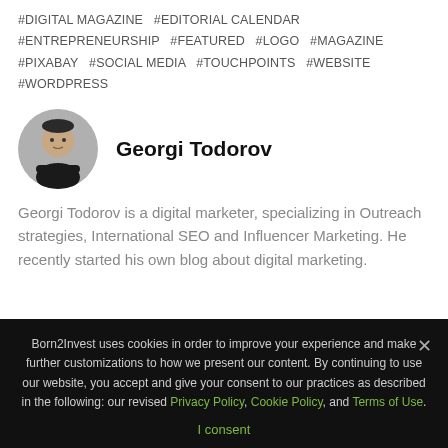#DIGITAL MAGAZINE  #EDITORIAL CALENDAR  #ENTREPRENEURSHIP  #FEATURED  #LOGO  #MAGAZINE  #PIXABAY  #SOCIAL MEDIA  #TOUCHPOINTS  #WEBSITE  #WORDPRESS
Georgi Todorov
[Figure (photo): Circular profile photo of Georgi Todorov, a man in a black t-shirt with arms crossed]
Georgi Todorov is a digital marketer, specializing in Outreach strategies, International SEO and Influencer Marketing. He recently started his own blog about digital marketing.
Born2Invest uses cookies in order to improve your experience and make further customizations to how we present our content. By continuing to use our website, you accept and give your consent to our practices as described in the following: our revised Privacy Policy, Cookie Policy, and Terms of Use.
I consent